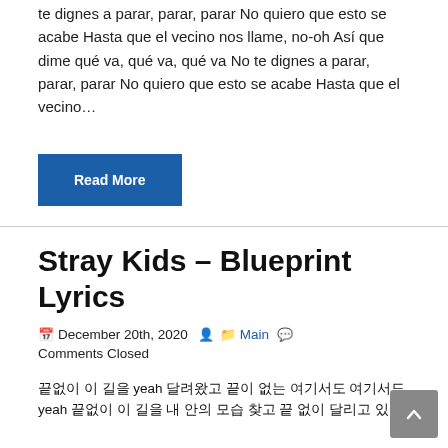te dignes a parar, parar, parar No quiero que esto se acabe Hasta que el vecino nos llame, no-oh Así que dime qué va, qué va, qué va No te dignes a parar, parar, parar No quiero que esto se acabe Hasta que el vecino…
Read More
Stray Kids – Blueprint Lyrics
December 20th, 2020  Main  Comments Closed
끝없이 이 길을 yeah 달려왔고 끝이 없는 여기서도 여기서도 yeah 여기서도 내 안의 모습 없고 끝 없이 달리고 있어